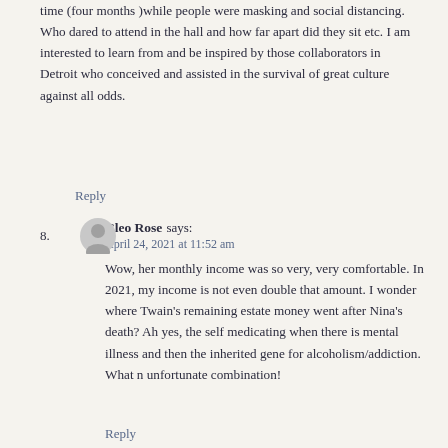time (four months )while people were masking and social distancing. Who dared to attend in the hall and how far apart did they sit etc. I am interested to learn from and be inspired by those collaborators in Detroit who conceived and assisted in the survival of great culture against all odds.
Reply
Cleo Rose says:
April 24, 2021 at 11:52 am
Wow, her monthly income was so very, very comfortable. In 2021, my income is not even double that amount. I wonder where Twain's remaining estate money went after Nina's death? Ah yes, the self medicating when there is mental illness and then the inherited gene for alcoholism/addiction. What n unfortunate combination!
Reply